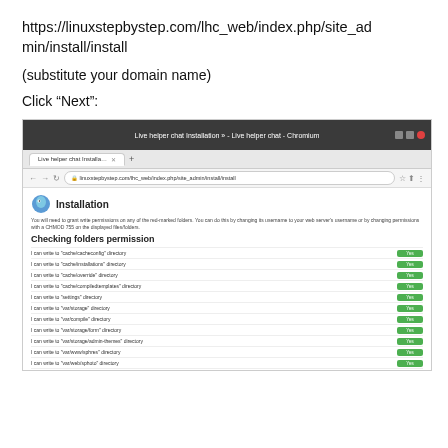https://linuxstepbystep.com/lhc_web/index.php/site_admin/install/install
(substitute your domain name)
Click “Next”:
[Figure (screenshot): Browser screenshot showing the Live helper chat installation page with 'Checking folders permission' section. All folder permission checks show green 'Yes' badges.]